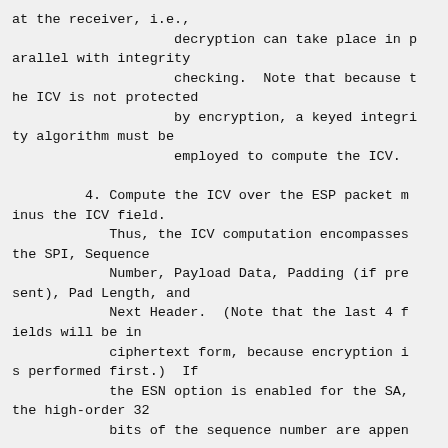at the receiver, i.e.,
                    decryption can take place in p
arallel with integrity
                    checking.  Note that because t
he ICV is not protected
                    by encryption, a keyed integri
ty algorithm must be
                    employed to compute the ICV.

         4. Compute the ICV over the ESP packet m
inus the ICV field.
            Thus, the ICV computation encompasses
the SPI, Sequence
            Number, Payload Data, Padding (if pre
sent), Pad Length, and
            Next Header.  (Note that the last 4 f
ields will be in
            ciphertext form, because encryption i
s performed first.)  If
            the ESN option is enabled for the SA,
the high-order 32
            bits of the sequence number are appen
ded.  (See the...